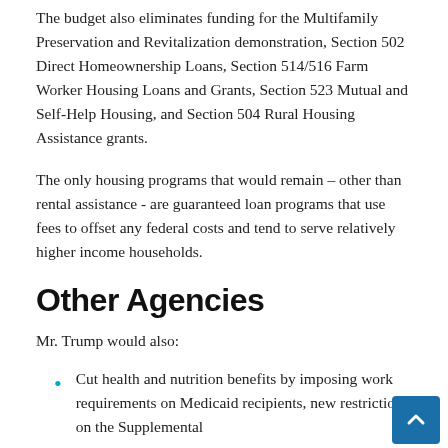The budget also eliminates funding for the Multifamily Preservation and Revitalization demonstration, Section 502 Direct Homeownership Loans, Section 514/516 Farm Worker Housing Loans and Grants, Section 523 Mutual and Self-Help Housing, and Section 504 Rural Housing Assistance grants.
The only housing programs that would remain – other than rental assistance - are guaranteed loan programs that use fees to offset any federal costs and tend to serve relatively higher income households.
Other Agencies
Mr. Trump would also:
Cut health and nutrition benefits by imposing work requirements on Medicaid recipients, new restrictions on the Supplemental